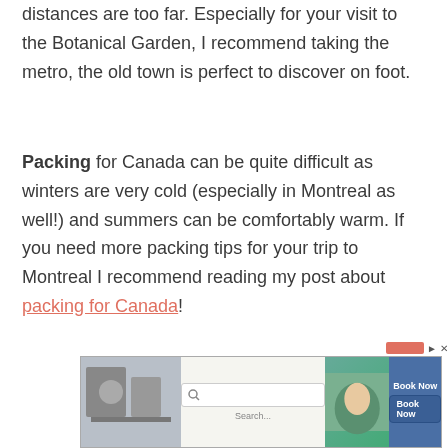distances are too far. Especially for your visit to the Botanical Garden, I recommend taking the metro, the old town is perfect to discover on foot.
Packing for Canada can be quite difficult as winters are very cold (especially in Montreal as well!) and summers can be comfortably warm. If you need more packing tips for your trip to Montreal I recommend reading my post about packing for Canada!
[Figure (other): Advertisement banner with search bar and Book Now button]